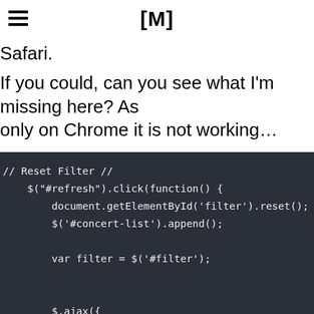[M]
Safari.
If you could, can you see what I'm missing here? As only on Chrome it is not working...
[Figure (screenshot): Dark-themed code block showing JavaScript: // Reset Filter //, $("#refresh").click(function() {, document.getElementById('filter').reset();, $('#concert-list').append();, var filter = $('#filter');, $.ajax({, url:filter.attr('action'),]